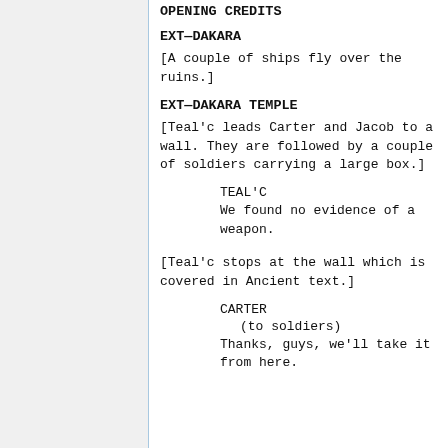OPENING CREDITS
EXT—DAKARA
[A couple of ships fly over the ruins.]
EXT—DAKARA TEMPLE
[Teal'c leads Carter and Jacob to a wall. They are followed by a couple of soldiers carrying a large box.]
TEAL'C
We found no evidence of a weapon.
[Teal'c stops at the wall which is covered in Ancient text.]
CARTER
(to soldiers)
Thanks, guys, we'll take it from here.